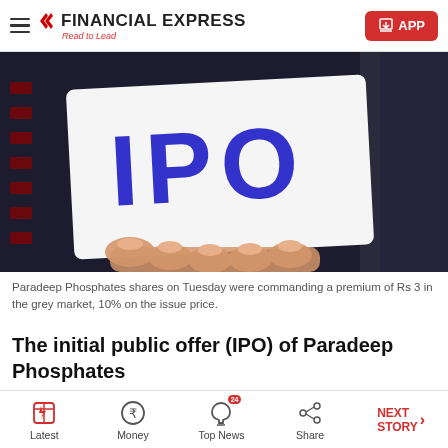FINANCIAL EXPRESS - Read to Lead | APP
[Figure (photo): A hand in a suit holding a white card with 'IPO' written in large blue letters, against a dark financial ticker background.]
Paradeep Phosphates shares on Tuesday were commanding a premium of Rs 3 in the grey market, 10% on the issue price.
The initial public offer (IPO) of Paradeep Phosphates
Latest | Money | Top News 24 | Share | NEXT STORY